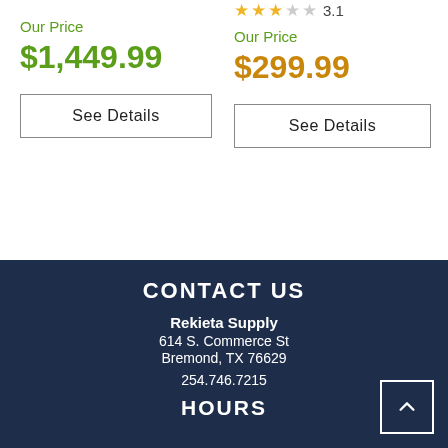3.1
Our Price
$1,449.99
See Details
Our Price
$299.99
See Details
CONTACT US
Rekieta Supply
614 S. Commerce St
Bremond, TX 76629
254.746.7215
HOURS